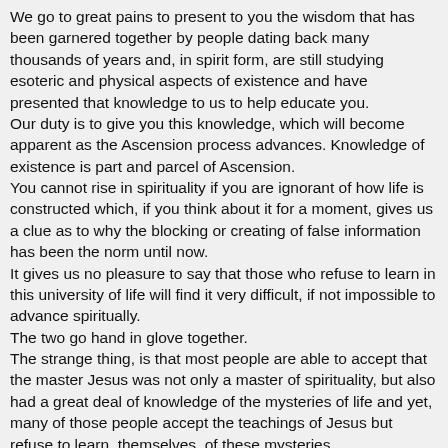We go to great pains to present to you the wisdom that has been garnered together by people dating back many thousands of years and, in spirit form, are still studying esoteric and physical aspects of existence and have presented that knowledge to us to help educate you.
Our duty is to give you this knowledge, which will become apparent as the Ascension process advances. Knowledge of existence is part and parcel of Ascension.
You cannot rise in spirituality if you are ignorant of how life is constructed which, if you think about it for a moment, gives us a clue as to why the blocking or creating of false information has been the norm until now.
It gives us no pleasure to say that those who refuse to learn in this university of life will find it very difficult, if not impossible to advance spiritually.
The two go hand in glove together.
The strange thing, is that most people are able to accept that the master Jesus was not only a master of spirituality, but also had a great deal of knowledge of the mysteries of life and yet, many of those people accept the teachings of Jesus but refuse to learn, themselves, of these mysteries.
They do not realize that the master Jesus was who he was because